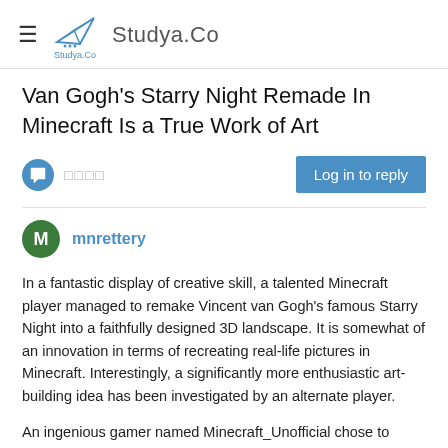Studya.Co
Van Gogh's Starry Night Remade In Minecraft Is a True Work of Art
□□□□
mnrettery
In a fantastic display of creative skill, a talented Minecraft player managed to remake Vincent van Gogh's famous Starry Night into a faithfully designed 3D landscape. It is somewhat of an innovation in terms of recreating real-life pictures in Minecraft. Interestingly, a significantly more enthusiastic art-building idea has been investigated by an alternate player.
An ingenious gamer named Minecraft_Unofficial chose to introduce automation to the process of creating art in Minecraft. The player designed a system that allows users to paint their pictures in-game using a recreated MS Paint program. It can then transform their pixel art into actual 3D scenes with a single tap of a button. It